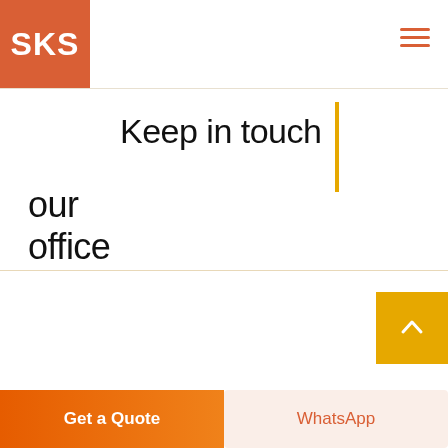SKS
Keep in touch
our office
Get a Quote
WhatsApp